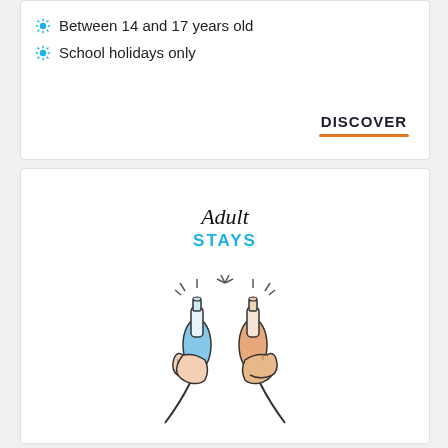Between 14 and 17 years old
School holidays only
DISCOVER
Adult STAYS
[Figure (illustration): Two hands clinking beer bottles together in a toast — one bottle blue, one orange — drawn in a simple line-art style]